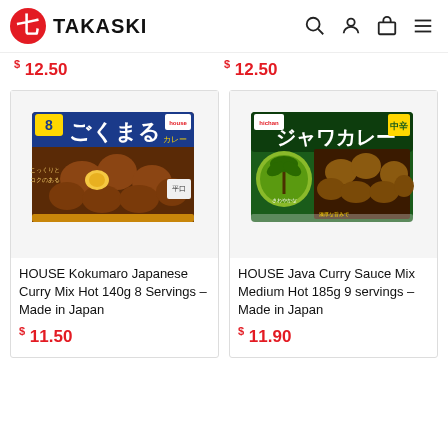TAKASKI
$ 12.50   $ 12.50
[Figure (photo): HOUSE Kokumaro Japanese Curry Mix Hot 140g 8 Servings product box with Japanese text]
[Figure (photo): HOUSE Java Curry Sauce Mix Medium Hot 185g 9 servings product box with Japanese text]
HOUSE Kokumaro Japanese Curry Mix Hot 140g 8 Servings – Made in Japan
HOUSE Java Curry Sauce Mix Medium Hot 185g 9 servings – Made in Japan
$ 11.50
$ 11.90